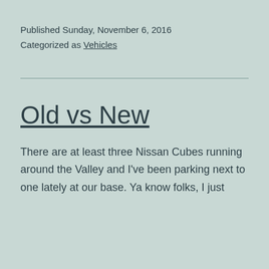Published Sunday, November 6, 2016
Categorized as Vehicles
Old vs New
There are at least three Nissan Cubes running around the Valley and I've been parking next to one lately at our base. Ya know folks, I just